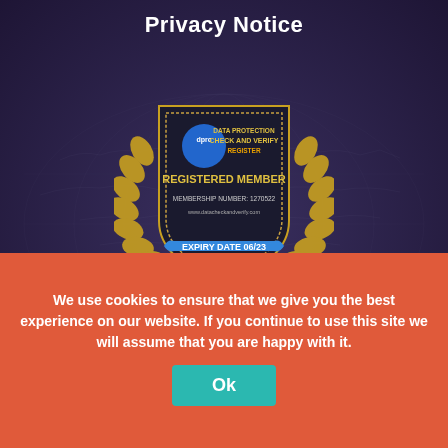Privacy Notice
[Figure (logo): Data Protection Check and Verify Register badge — shield shape with gold laurel wreath, blue circle with 'dprc' text, gold text reading 'DATA PROTECTION CHECK AND VERIFY REGISTER', gold text 'REGISTERED MEMBER', 'MEMBERSHIP NUMBER: 1270522', website URL, blue ribbon at bottom reading 'EXPIRY DATE 06/23']
RECENT POSTS
Slurry lagoon refused permission
Dirty rivers update
Fifteen farming leaders from the Coal B...
We use cookies to ensure that we give you the best experience on our website. If you continue to use this site we will assume that you are happy with it.